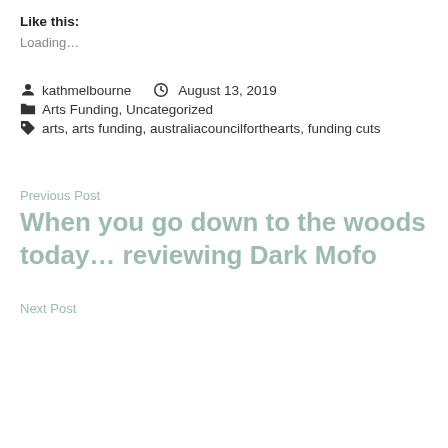Like this:
Loading…
kathmelbourne   August 13, 2019
Arts Funding, Uncategorized
arts, arts funding, australiacouncilforthearts, funding cuts
Previous Post
When you go down to the woods today… reviewing Dark Mofo
Next Post